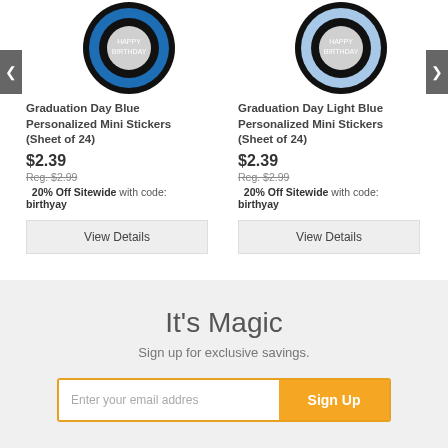[Figure (photo): Graduation Day Blue Personalized Mini Stickers product image - circular sticker sheet with blue and black colors]
Graduation Day Blue Personalized Mini Stickers (Sheet of 24)
$2.39
Reg. $2.99
20% Off Sitewide with code: birthyay
View Details
[Figure (photo): Graduation Day Light Blue Personalized Mini Stickers product image - circular sticker sheet with light blue and black colors]
Graduation Day Light Blue Personalized Mini Stickers (Sheet of 24)
$2.39
Reg. $2.99
20% Off Sitewide with code: birthyay
View Details
It's Magic
Sign up for exclusive savings.
Enter your email addres
Sign Up